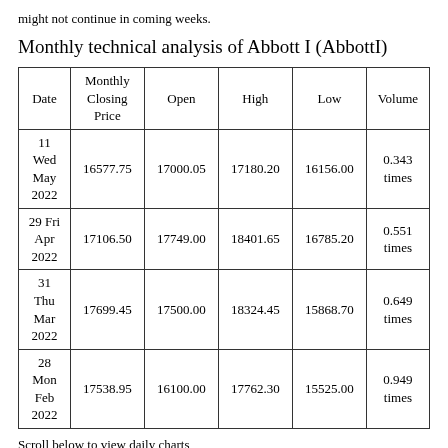might not continue in coming weeks.
Monthly technical analysis of Abbott I (AbbottI)
| Date | Monthly Closing Price | Open | High | Low | Volume |
| --- | --- | --- | --- | --- | --- |
| 11 Wed May 2022 | 16577.75 | 17000.05 | 17180.20 | 16156.00 | 0.343 times |
| 29 Fri Apr 2022 | 17106.50 | 17749.00 | 18401.65 | 16785.20 | 0.551 times |
| 31 Thu Mar 2022 | 17699.45 | 17500.00 | 18324.45 | 15868.70 | 0.649 times |
| 28 Mon Feb 2022 | 17538.95 | 16100.00 | 17762.30 | 15525.00 | 0.949 times |
Scroll below to view daily charts
Price has moved down this month, but volume has not